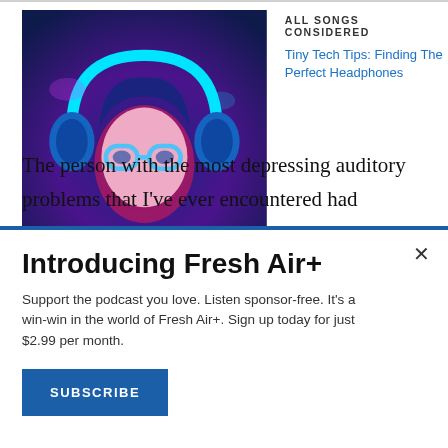[Figure (illustration): Podcast cover art showing an illustrated person with headphones and glasses, with colorful neon lighting in dark blue, purple, pink and cyan tones.]
ALL SONGS CONSIDERED
Tiny Tech Tips: Finding The Perfect Headphones
The person with the most depressing auditory problems that I've ever encountered had something called hyperacusis, which is where it's like the opposite of deafness. Everything is louder to him than it is to anybody else — so much so that even inside the house he will wear huge earmuff-like
Introducing Fresh Air+
Support the podcast you love. Listen sponsor-free. It's a win-win in the world of Fresh Air+. Sign up today for just $2.99 per month.
SUBSCRIBE